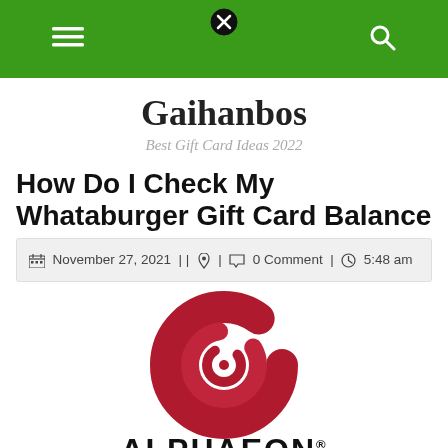Gaihanbos — menu and search bar (green header)
Gaihanbos
Best Gift Card Ideas 2022
How Do I Check My Whataburger Gift Card Balance
November 27, 2021 | | 🔒 | 💬 0 Comment | 🕐 5:48 am
[Figure (logo): Alphaeon Credit logo — dark red spiral circle above the text ALPHAEON CREDIT in large bold letters]